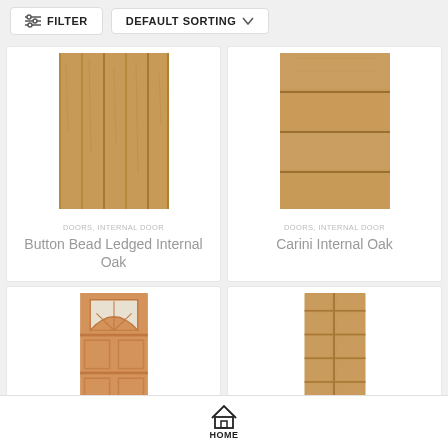FILTER   DEFAULT SORTING
[Figure (photo): Button Bead Ledged Internal Oak door - vertical wood grain texture]
DOORS, INTERNAL DOOR
Button Bead Ledged Internal Oak
[Figure (photo): Carini Internal Oak door - horizontal panel design]
DOORS, INTERNAL DOOR
Carini Internal Oak
[Figure (photo): External oak door with arched fanlight window at top and lower panels]
[Figure (photo): Contemporary internal oak door with vertical panel design]
HOME